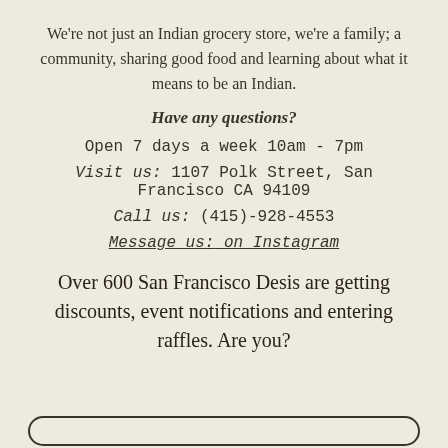We're not just an Indian grocery store, we're a family; a community, sharing good food and learning about what it means to be an Indian.
Have any questions?
Open 7 days a week 10am - 7pm
Visit us: 1107 Polk Street, San Francisco CA 94109
Call us: (415)-928-4553
Message us: on Instagram
Over 600 San Francisco Desis are getting discounts, event notifications and entering raffles. Are you?